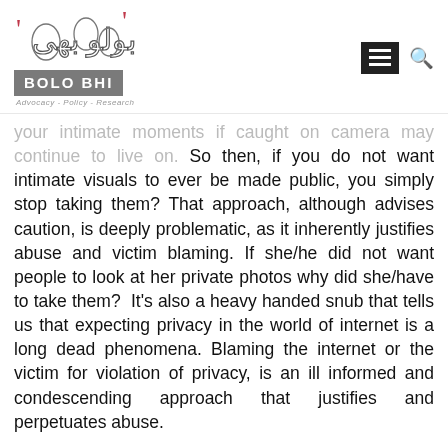BOLO BHI — Advocacy - Policy - Research (logo with navigation icons)
your intimate moments if caught on camera may continue to live on. So then, if you do not want intimate visuals to ever be made public, you simply stop taking them? That approach, although advises caution, is deeply problematic, as it inherently justifies abuse and victim blaming. If she/he did not want people to look at her private photos why did she/have to take them?  It's also a heavy handed snub that tells us that expecting privacy in the world of internet is a long dead phenomena. Blaming the internet or the victim for violation of privacy, is an ill informed and condescending approach that justifies and perpetuates abuse.